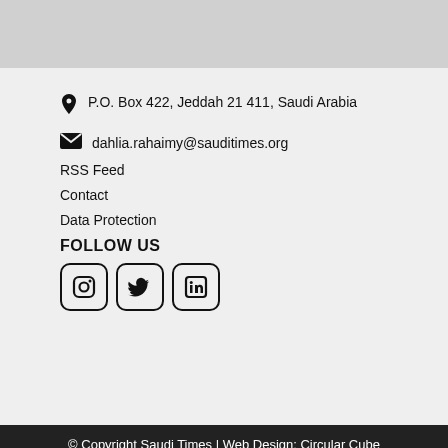P.O. Box 422, Jeddah 21411, Saudi Arabia
dahlia.rahaimy@sauditimes.org
RSS Feed
Contact
Data Protection
FOLLOW US
[Figure (illustration): Three social media icons in rounded square boxes: Instagram, Twitter, LinkedIn]
© Copyright Saudi Times | Web Design: Circular Cube